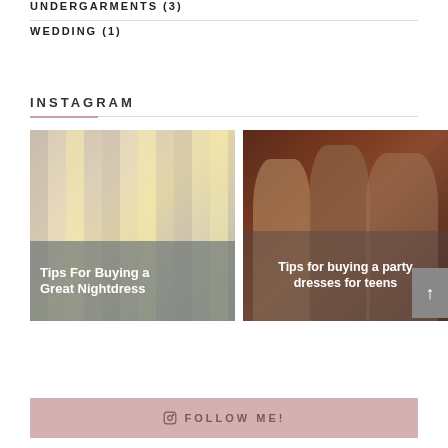UNDERGARMENTS (3)
WEDDING (1)
INSTAGRAM
[Figure (photo): Clothes hanging on a rack, colorful garments including beige, white, and yellow items, with overlaid text 'Tips For Buying a Great Nightdress']
[Figure (photo): Three women in glamorous dresses at a party, toasting with drinks, dark warm background, with overlaid text 'Tips for buying a party dresses for teens']
FOLLOW ME!